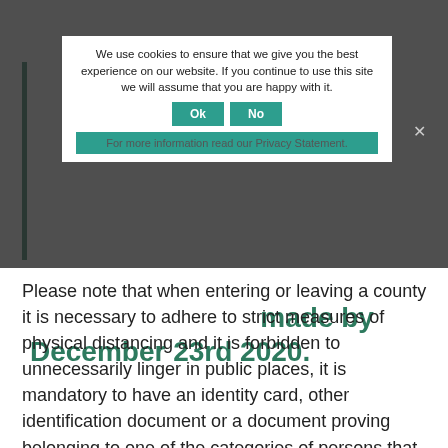One of the justifiable reason for issuing an e-pass, among other things, is proof of payment for accommodation reservations (hotel or other), made previous to this Decision entering into force, i.e. payment was made by December 23rd 2020.
We use cookies to ensure that we give you the best experience on our website. If you continue to use this site we will assume that you are happy with it.
For more information read our Privacy Statement.
Please note that when entering or leaving a county it is necessary to adhere to strict measures of physical distancing and it is forbidden to unnecessarily linger in public places, it is mandatory to have an identity card, other identification document or a document proving belonging to one of the categories of persons that are exempt from the regulations prohibiting leaving the county in which the person